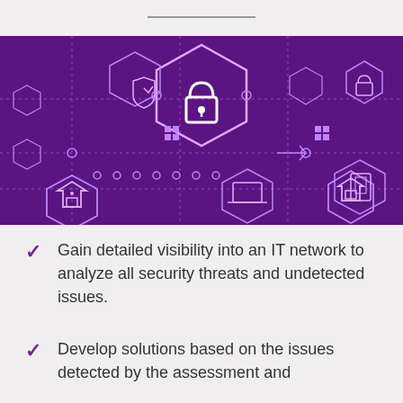[Figure (illustration): Cybersecurity themed banner image with purple overlay showing a keyboard background and glowing purple hexagonal network icons representing various security concepts: padlocks, shields, laptops, home security, and network connection nodes]
Gain detailed visibility into an IT network to analyze all security threats and undetected issues.
Develop solutions based on the issues detected by the assessment and